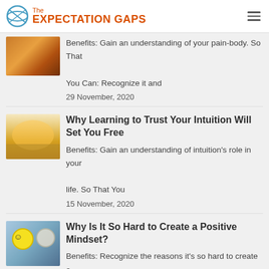The EXPECTATION GAPS
Benefits: Gain an understanding of your pain-body. So That You Can: Recognize it and
29 November, 2020
Why Learning to Trust Your Intuition Will Set You Free
Benefits: Gain an understanding of intuition's role in your life. So That You
15 November, 2020
Why Is It So Hard to Create a Positive Mindset?
Benefits: Recognize the reasons it's so hard to create a positive mindset. So